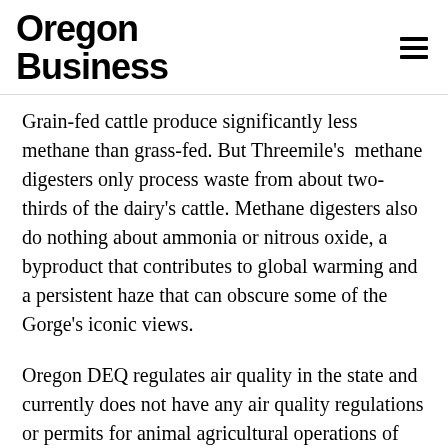Oregon Business
Grain-fed cattle produce significantly less methane than grass-fed. But Threemile's methane digesters only process waste from about two-thirds of the dairy's cattle. Methane digesters also do nothing about ammonia or nitrous oxide, a byproduct that contributes to global warming and a persistent haze that can obscure some of the Gorge's iconic views.
Oregon DEQ regulates air quality in the state and currently does not have any air quality regulations or permits for animal agricultural operations of any size, Matthews said.